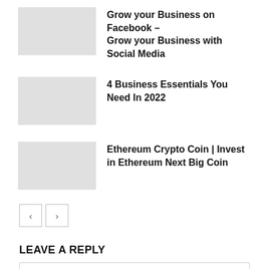Grow your Business on Facebook – Grow your Business with Social Media
4 Business Essentials You Need In 2022
Ethereum Crypto Coin | Invest in Ethereum Next Big Coin
LEAVE A REPLY
Comment: